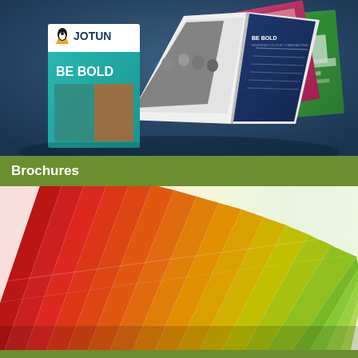[Figure (photo): Photo of Jotun branded marketing brochures and open magazines/catalogues arranged in a fan layout, against a dark blue background. The front brochure shows JOTUN logo and 'BE BOLD' text in teal/cyan color. Behind it are open spreads showing people and color swatches.]
Brochures
[Figure (photo): Close-up macro photo of a fan of paint colour chart swatches, showing a gradient from red through orange, yellow, to yellow-green and light green. The swatches are fanned out with white dividing lines between colour strips, photographed at an angle.]
Colour charts